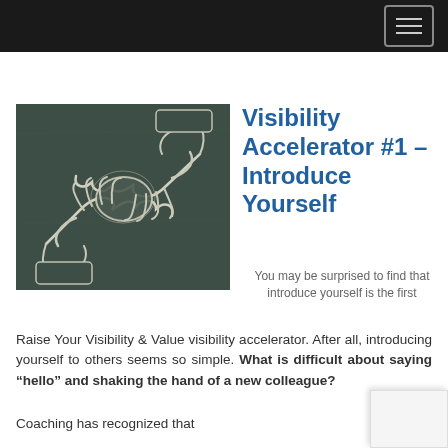[Figure (illustration): Chalk drawing of two hands shaking on a dark chalkboard background]
Visibility Accelerator #1 – Introduce Yourself
You may be surprised to find that introduce yourself is the first Raise Your Visibility & Value visibility accelerator. After all, introducing yourself to others seems so simple. What is difficult about saying “hello” and shaking the hand of a new colleague?
Coaching has recognized that...